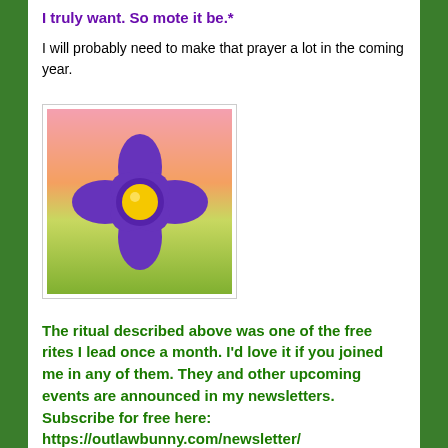I truly want. So mote it be.*
I will probably need to make that prayer a lot in the coming year.
[Figure (illustration): A purple flower illustration with yellow center on a colorful background (pink/orange top, green bottom)]
The ritual described above was one of the free rites I lead once a month. I'd love it if you joined me in any of them. They and other upcoming events are announced in my newsletters. Subscribe for free here: https://outlawbunny.com/newsletter/
I love you, be safe.
* Attribution: I read spiritual literature of all kinds. As a shaman, I seek the core of reality, and it is found in disparate places. There's an Alcoholics Anonymous